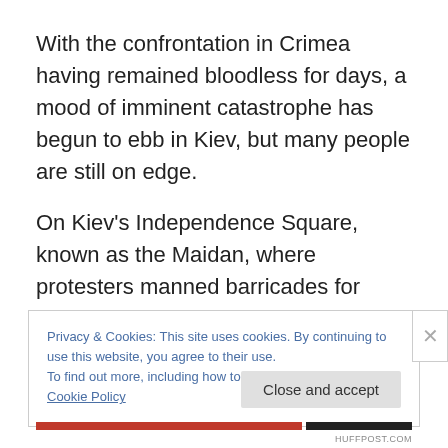With the confrontation in Crimea having remained bloodless for days, a mood of imminent catastrophe has begun to ebb in Kiev, but many people are still on edge.
On Kiev's Independence Square, known as the Maidan, where protesters manned barricades for three months to bring down Yanukovich, the morning crowds were smaller than in the past few days as people returned to work.
Privacy & Cookies: This site uses cookies. By continuing to use this website, you agree to their use.
To find out more, including how to control cookies, see here: Cookie Policy